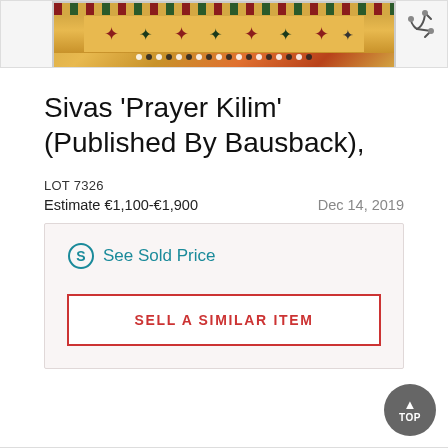[Figure (photo): Partial top view of a Sivas Prayer Kilim rug with colorful geometric patterns in red, yellow, green, and black. White and dark dots form a border row near the bottom of the visible strip.]
Sivas 'Prayer Kilim' (Published By Bausback),
LOT 7326
Estimate €1,100-€1,900	Dec 14, 2019
See Sold Price
SELL A SIMILAR ITEM